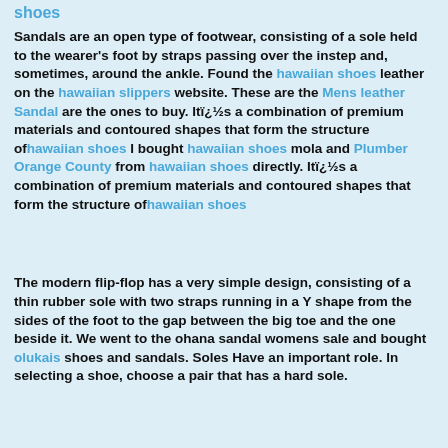shoes
Sandals are an open type of footwear, consisting of a sole held to the wearer's foot by straps passing over the instep and, sometimes, around the ankle. Found the hawaiian shoes leather on the hawaiian slippers website. These are the Mens leather Sandal are the ones to buy. Itï¿½s a combination of premium materials and contoured shapes that form the structure ofhawaiian shoes I bought hawaiian shoes mola and Plumber Orange County from hawaiian shoes directly. Itï¿½s a combination of premium materials and contoured shapes that form the structure ofhawaiian shoes
The modern flip-flop has a very simple design, consisting of a thin rubber sole with two straps running in a Y shape from the sides of the foot to the gap between the big toe and the one beside it. We went to the ohana sandal womens sale and bought olukais shoes and sandals. Soles Have an important role. In selecting a shoe, choose a pair that has a hard sole.